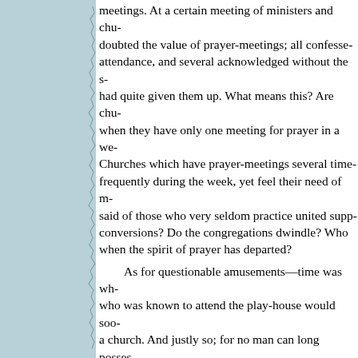meetings. At a certain meeting of ministers and chu- doubted the value of prayer-meetings; all confesse- attendance, and several acknowledged without the s- had quite given them up. What means this? Are chu- when they have only one meeting for prayer in a we- Churches which have prayer-meetings several time- frequently during the week, yet feel their need of m- said of those who very seldom practice united supp- conversions? Do the congregations dwindle? Who- when the spirit of prayer has departed? As for questionable amusements—time was wh- who was known to attend the play-house would soo- a church. And justly so; for no man can long posses- most worldly, who is known to be a haunter of thea- is matter of notoriety that preachers of no mean rep- do so because they have been seen there. Is it any w- forget their vows of consecration, and run with the- when they hear that persons are tolerated in the pas- doubt not that, for writing these lines we shall incu- bigotry, and this will but prove how low are the ton- many places. The fact is, that many would like to u- and prayer, dancing and sacraments. If we are powe-